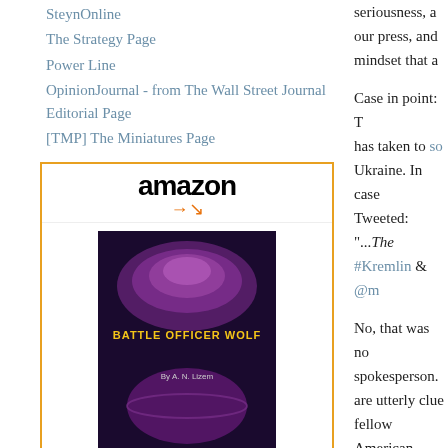SteynOnline
The Strategy Page
Power Line
OpinionJournal - from The Wall Street Journal Editorial Page
[TMP] The Miniatures Page
[Figure (other): Amazon advertisement showing 'Battle Officer Wolf: Revised...' book for $2.99 with Shop now button]
Blog powered by Typepad
Email Me
seriousness, a... our press, and... mindset that a...
Case in point: T... has taken to so... Ukraine. In case... Tweeted: "...The... #Kremlin & @m...
No, that was no... spokesperson.... are utterly clue... fellow American... disbelief, imagi...
The first respon... hashtags do no...
A line from an d... "Suddenly, you...
Meanwhile, in e... "militants" (let's... are really highl...